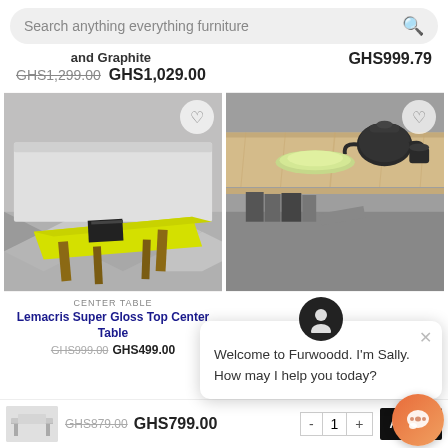Search anything everything furniture
and Graphite
GHS1,299.00  GHS1,029.00
GHS999.79
[Figure (photo): Yellow gloss center table with wooden legs on grey geometric tile floor]
[Figure (photo): Wooden center table with storage shelf showing teapot and plates on top]
CENTER TABLE
Lemacris Super Gloss Top Center Table
GHS499.00
Crito Grid Simple Center Table with Storage
GHS1,099.79
Welcome to Furwoodd. I'm Sally. How may I help you today?
[Figure (photo): Small thumbnail of center table]
GHS879.00  GHS799.00
1
ADD TO